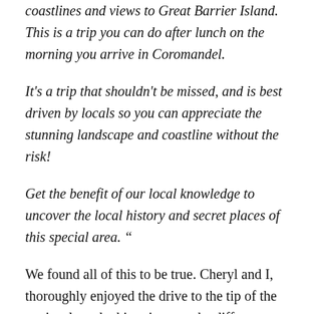coastlines and views to Great Barrier Island. This is a trip you can do after lunch on the morning you arrive in Coromandel.
It's a trip that shouldn't be missed, and is best driven by locals so you can appreciate the stunning landscape and coastline without the risk!
Get the benefit of our local knowledge to uncover the local history and secret places of this special area.  "
We found all of this to be true. Cheryl and I, thoroughly enjoyed the drive to the tip of the peninsula and taking time to take different photographs. I also enjoyed not having to drive, especially along the narrow gravel roads that made up most of the northern half of the route. It was nice to be able to watch the beautiful